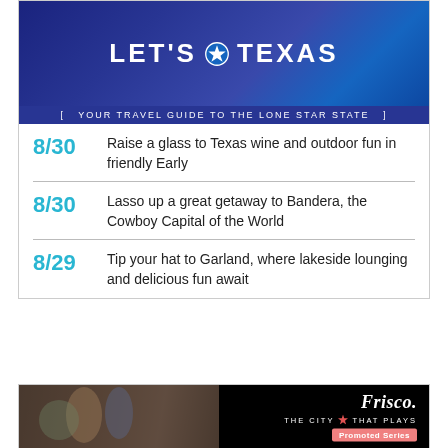[Figure (illustration): Let's Texas banner with camping scene at dusk and tagline 'Your travel guide to the Lone Star State']
8/30 Raise a glass to Texas wine and outdoor fun in friendly Early
8/30 Lasso up a great getaway to Bandera, the Cowboy Capital of the World
8/29 Tip your hat to Garland, where lakeside lounging and delicious fun await
[Figure (illustration): Frisco – The City That Plays promotional banner with photo of people at art class and Promoted Series badge]